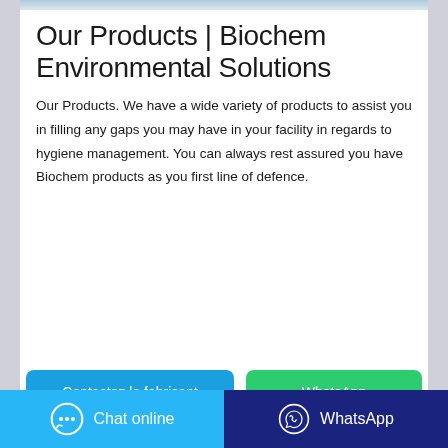[Figure (photo): Top image strip showing partial product or banner image]
Our Products | Biochem Environmental Solutions
Our Products. We have a wide variety of products to assist you in filling any gaps you may have in your facility in regards to hygiene management. You can always rest assured you have Biochem products as you first line of defence.
[Figure (other): Blue 'Contactez le fabricant' button and green 'WhatsApp' button]
[Figure (photo): Bottom image strip showing partial product image]
Chat online   WhatsApp